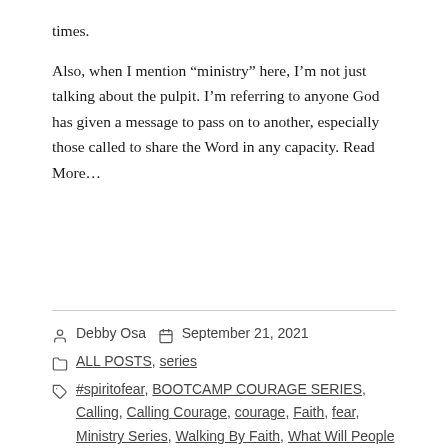times.
Also, when I mention “ministry” here, I’m not just talking about the pulpit. I’m referring to anyone God has given a message to pass on to another, especially those called to share the Word in any capacity. Read More…
Debby Osa   September 21, 2021
ALL POSTS, series
#spiritofear, BOOTCAMP COURAGE SERIES, Calling, Calling Courage, courage, Faith, fear, Ministry Series, Walking By Faith, What Will People Say, WWPS
9 Comments